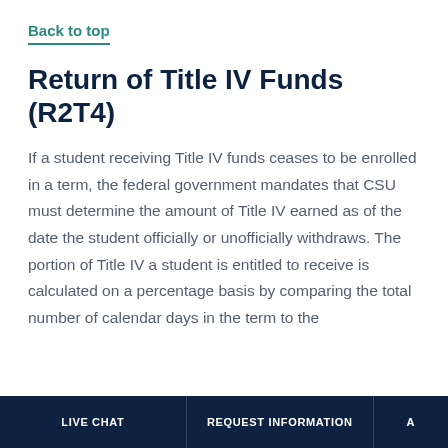Back to top
Return of Title IV Funds (R2T4)
If a student receiving Title IV funds ceases to be enrolled in a term, the federal government mandates that CSU must determine the amount of Title IV earned as of the date the student officially or unofficially withdraws. The portion of Title IV a student is entitled to receive is calculated on a percentage basis by comparing the total number of calendar days in the term to the number of calendar days completed by the student
LIVE CHAT | REQUEST INFORMATION | A